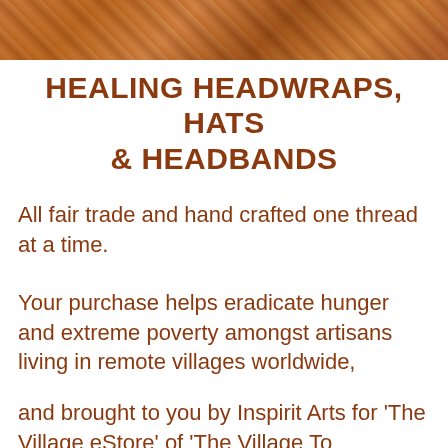[Figure (photo): Cropped photo at top of page showing colorful textiles or headwraps with warm tones of orange, red, and brown.]
HEALING HEADWRAPS, HATS & HEADBANDS
All fair trade and hand crafted one thread at a time.
Your purchase helps eradicate hunger and extreme poverty amongst artisans living in remote villages worldwide,
and brought to you by Inspirit Arts for 'The Village eStore' of 'The Village To